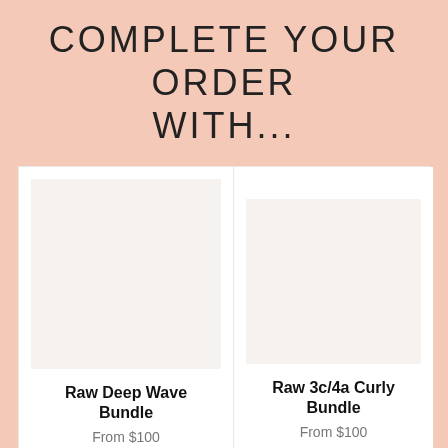COMPLETE YOUR ORDER WITH...
[Figure (photo): Placeholder image for Raw Deep Wave Bundle product]
Raw Deep Wave Bundle
From $100
[Figure (photo): Placeholder image for Raw 3c/4a Curly Bundle product]
Raw 3c/4a Curly Bundle
From $100